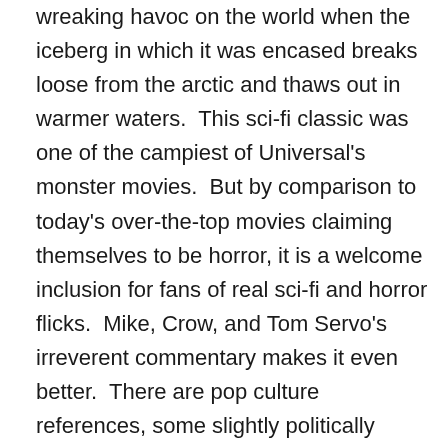wreaking havoc on the world when the iceberg in which it was encased breaks loose from the arctic and thaws out in warmer waters.  This sci-fi classic was one of the campiest of Universal's monster movies.  But by comparison to today's over-the-top movies claiming themselves to be horror, it is a welcome inclusion for fans of real sci-fi and horror flicks.  Mike, Crow, and Tom Servo's irreverent commentary makes it even better.  There are pop culture references, some slightly politically incorrect jokes, and even some that are so nonsensical that one can't help but laugh at them.  The jokes are just part of what makes this movie the anchor to this new set.  Fans of classic movies will appreciate the bonus feature on the life of William Alland.  “Chasing Rosebud: The Cinematic Life of William Alland” explains the importance of Alland in the history of monster and sci-fi movies.  Whether viewers are watching